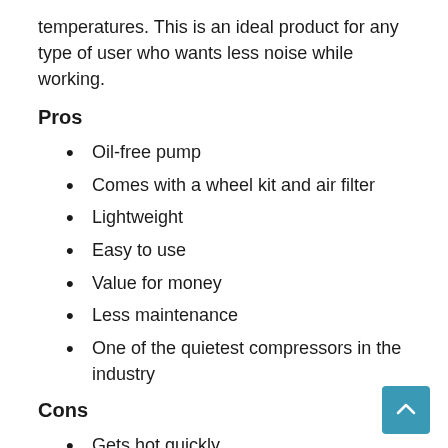temperatures. This is an ideal product for any type of user who wants less noise while working.
Pros
Oil-free pump
Comes with a wheel kit and air filter
Lightweight
Easy to use
Value for money
Less maintenance
One of the quietest compressors in the industry
Cons
Gets hot quickly